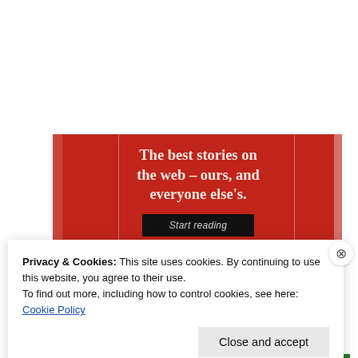[Figure (illustration): Red promotional banner with text 'The best stories on the web – ours, and everyone else's.' and a 'Start reading' button on dark background]
Privacy & Cookies: This site uses cookies. By continuing to use this website, you agree to their use.
To find out more, including how to control cookies, see here: Cookie Policy
Close and accept